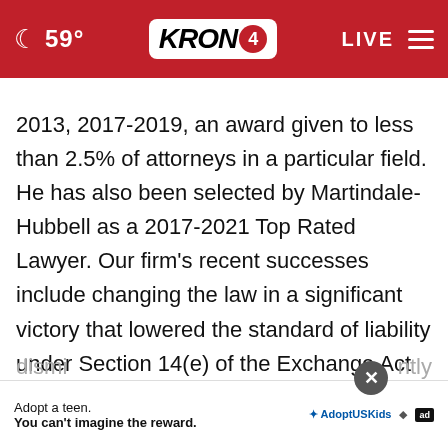[Figure (screenshot): KRON 4 news website header bar with red background, moon icon, temperature 59°, KRON4 logo, LIVE label, and hamburger menu]
2013, 2017-2019, an award given to less than 2.5% of attorneys in a particular field. He has also been selected by Martindale-Hubbell as a 2017-2021 Top Rated Lawyer. Our firm's recent successes include changing the law in a significant victory that lowered the standard of liability under Section 14(e) of the Exchange Act in the Ninth Circuit. Thereafter, our firm successfully preserved this victory by obtaining dismissal... ntly granted... the United States Supreme
[Figure (screenshot): Ad overlay: Adopt a teen. You can't imagine the reward. AdoptUSKids logo and ad badge]